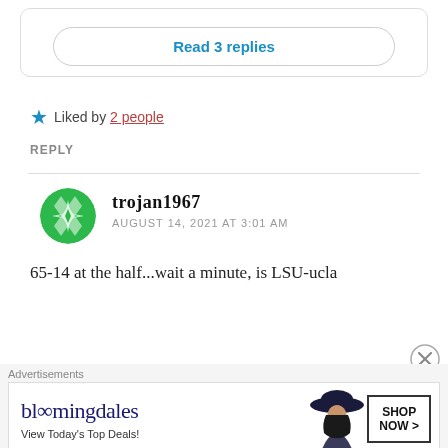Read 3 replies
★ Liked by 2 people
REPLY
trojan1967
AUGUST 14, 2021 AT 3:01 AM
65-14 at the half...wait a minute, is LSU-ucla
Advertisements
[Figure (screenshot): Bloomingdale's advertisement banner with logo, 'View Today's Top Deals!' text, woman in hat, and 'SHOP NOW >' button]